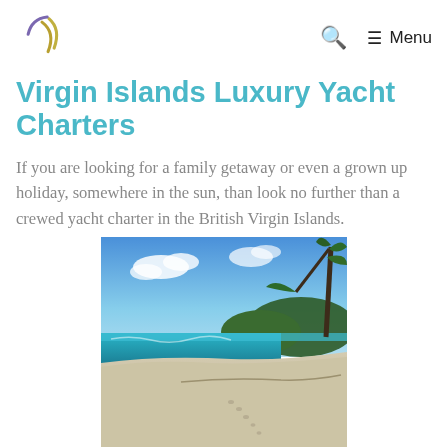Logo | Search | Menu
Virgin Islands Luxury Yacht Charters
If you are looking for a family getaway or even a grown up holiday, somewhere in the sun, than look no further than a crewed yacht charter in the British Virgin Islands.
[Figure (photo): A tropical white sand beach with turquoise water, blue sky with clouds, and palm trees on the right side.]